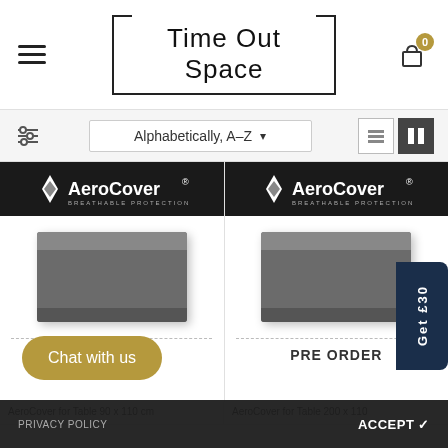Time Out Space
Alphabetically, A-Z
[Figure (photo): Two AeroCover product cards showing grey rectangular furniture covers on dark branded banners, each with a PRE ORDER label]
Get £30
Chat with us
AeroCover for Table 90 x 110 cm
£59.00
AeroCover for Table 200 x 110
PRIVACY POLICY   ACCEPT ✓